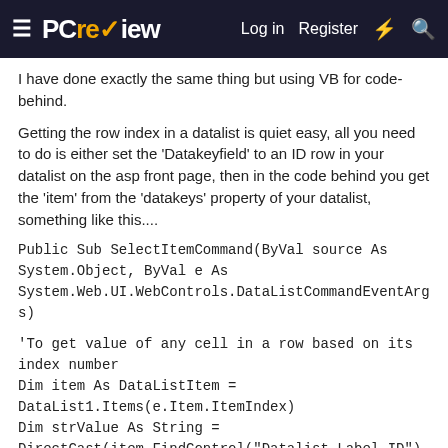PC review — Log in | Register
I have done exactly the same thing but using VB for code-behind.
Getting the row index in a datalist is quiet easy, all you need to do is either set the 'Datakeyfield' to an ID row in your datalist on the asp front page, then in the code behind you get the 'item' from the 'datakeys' property of your datalist, something like this....
Public Sub SelectItemCommand(ByVal source As System.Object, ByVal e As System.Web.UI.WebControls.DataListCommandEventArgs)
'To get value of any cell in a row based on its index number
Dim item As DataListItem = DataList1.Items(e.Item.ItemIndex)
Dim strValue As String = DirectCast(item.FindControl("Datalist_Label_ID"), Label).Text
WriteLine(strValue)